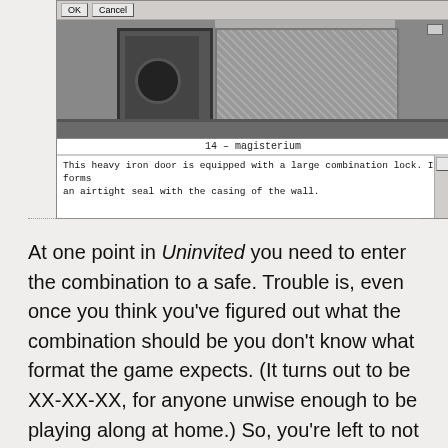[Figure (screenshot): A game screenshot showing a dialog with OK and Cancel buttons at top, a game scene with a heavy iron door with a combination lock set against a hatched background, an info bar reading '14 - magisterium', and a description box reading 'This heavy iron door is equipped with a large combination lock. It forms an airtight seal with the casing of the wall.']
At one point in Uninvited you need to enter the combination to a safe. Trouble is, even once you think you've figured out what the combination should be you don't know what format the game expects. (It turns out to be XX-XX-XX, for anyone unwise enough to be playing along at home.) So, you're left to not only contend with piecing together three numbers from clues spread all over the game and then trying to guess their order, but you can never feel quite sure whether a rejected input was rejected because you actually had the wrong combination or because you didn't type it in using the exact format the